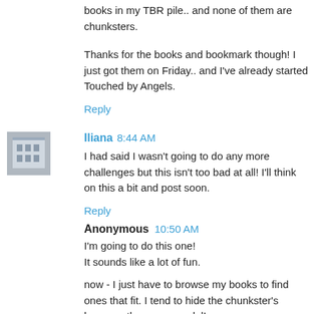books in my TBR pile.. and none of them are chunksters.
Thanks for the books and bookmark though! I just got them on Friday.. and I've already started Touched by Angels.
Reply
Iliana 8:44 AM
I had said I wasn't going to do any more challenges but this isn't too bad at all! I'll think on this a bit and post soon.
Reply
Anonymous 10:50 AM
I'm going to do this one!
It sounds like a lot of fun.
now - I just have to browse my books to find ones that fit. I tend to hide the chunkster's because they scar me. lol!
Reply